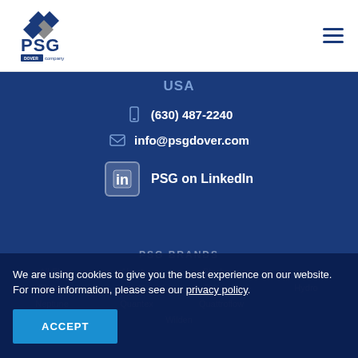[Figure (logo): PSG - a Dover company logo in blue with diamond shapes]
USA
(630) 487-2240
info@psgdover.com
PSG on LinkedIn
PSG BRANDS
All-Flo
Almatec
Blackmer
Ebsray
em-tec
Griswold
Hydro
Neptune
Quantex
Quattroflow
Wilden
We are using cookies to give you the best experience on our website. For more information, please see our privacy policy.
ACCEPT